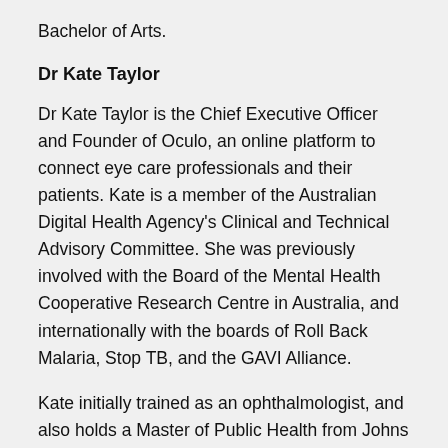Bachelor of Arts.
Dr Kate Taylor
Dr Kate Taylor is the Chief Executive Officer and Founder of Oculo, an online platform to connect eye care professionals and their patients. Kate is a member of the Australian Digital Health Agency's Clinical and Technical Advisory Committee. She was previously involved with the Board of the Mental Health Cooperative Research Centre in Australia, and internationally with the boards of Roll Back Malaria, Stop TB, and the GAVI Alliance.
Kate initially trained as an ophthalmologist, and also holds a Master of Public Health from Johns Hopkins University as a Fulbright Scholar. She has